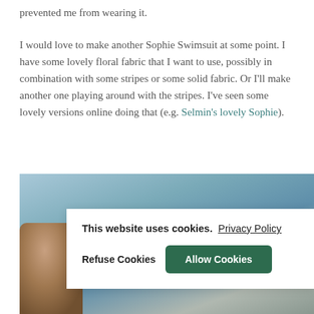prevented me from wearing it.
I would love to make another Sophie Swimsuit at some point. I have some lovely floral fabric that I want to use, possibly in combination with some stripes or some solid fabric. Or I'll make another one playing around with the stripes. I've seen some lovely versions online doing that (e.g. Selmin's lovely Sophie).
[Figure (photo): Photo of a person at a beach or poolside, partially obscured by a cookie consent banner overlay]
This website uses cookies.  Privacy Policy  Refuse Cookies  Allow Cookies